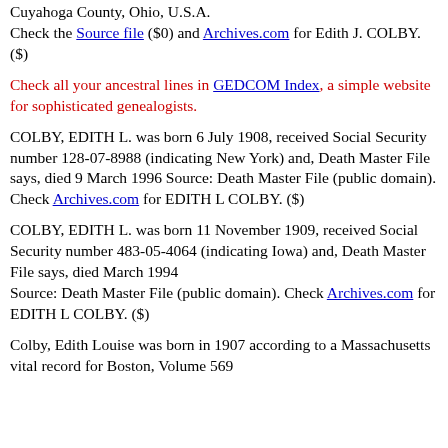Cuyahoga County, Ohio, U.S.A.
Check the Source file ($0) and Archives.com for Edith J. COLBY. ($)
Check all your ancestral lines in GEDCOM Index, a simple website for sophisticated genealogists.
COLBY, EDITH L. was born 6 July 1908, received Social Security number 128-07-8988 (indicating New York) and, Death Master File says, died 9 March 1996 Source: Death Master File (public domain). Check Archives.com for EDITH L COLBY. ($)
COLBY, EDITH L. was born 11 November 1909, received Social Security number 483-05-4064 (indicating Iowa) and, Death Master File says, died March 1994 Source: Death Master File (public domain). Check Archives.com for EDITH L COLBY. ($)
Colby, Edith Louise was born in 1907 according to a Massachusetts vital record for Boston, Volume 569